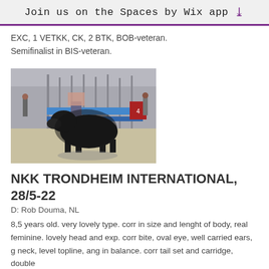Join us on the Spaces by Wix app
EXC, 1 VETKK, CK, 2 BTK, BOB-veteran. Semifinalist in BIS-veteran.
[Figure (photo): A large black dog being shown at an outdoor dog show, standing on gravel with a person's legs visible behind it. Show ring equipment visible in background.]
NKK TRONDHEIM INTERNATIONAL, 28/5-22
D: Rob Douma, NL
8,5 years old. very lovely type. corr in size and lenght of body, real feminine. lovely head and exp. corr bite, oval eye, well carried ears, g neck, level topline, ang in balance. corr tail set and carridge, double